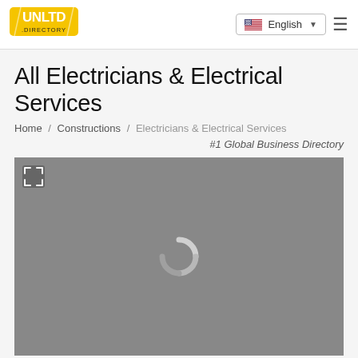UNLTD .DIRECTORY — English
All Electricians & Electrical Services
Home / Constructions / Electricians & Electrical Services
#1 Global Business Directory
[Figure (map): A gray loading map placeholder with expand icon and loading spinner in center]